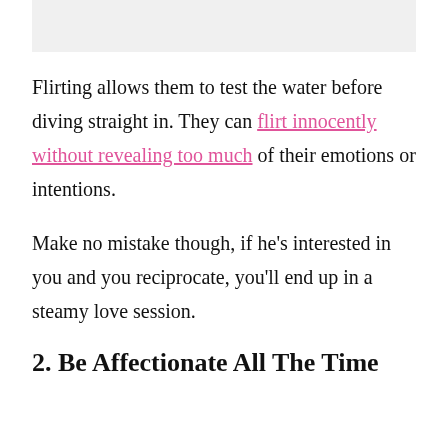Flirting allows them to test the water before diving straight in. They can flirt innocently without revealing too much of their emotions or intentions.
Make no mistake though, if he's interested in you and you reciprocate, you'll end up in a steamy love session.
2. Be Affectionate All The Time